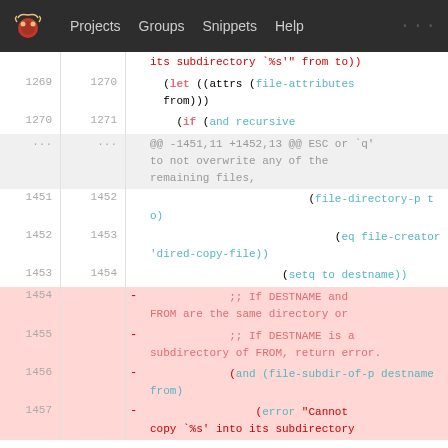Projects  Groups  Snippets  Help  ...
Diff view of an Emacs Lisp source file showing lines 1269-1457 with deleted lines highlighted in pink/red
[Figure (screenshot): Code diff view showing Emacs Lisp code with line numbers, deleted lines marked with minus sign, covering lines 1269-1457 including file-attributes, recursive, file-directory-p, eq file-creator, setq, and error handling for directory copy operations]